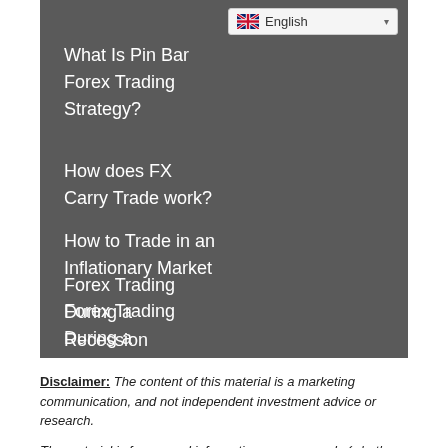What Is Pin Bar Forex Trading Strategy?
How does FX Carry Trade work?
How to Trade in an Inflationary Market
Forex Trading During a Recession
How Social Media Affects the Forex Trading
Disclaimer: The content of this material is a marketing communication, and not independent investment advice or research.
The material is for general information purposes only (whether or not it